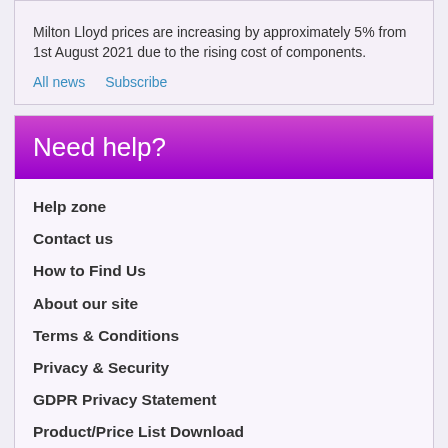Milton Lloyd prices are increasing by approximately 5% from 1st August 2021 due to the rising cost of components.
All news   Subscribe
Need help?
Help zone
Contact us
How to Find Us
About our site
Terms & Conditions
Privacy & Security
GDPR Privacy Statement
Product/Price List Download
How to Pay
UK Delivery Rates
Worldwide Delivery Rates
Brexit: What You Need to Know
Period After Opening & Shelf Life
A Virtual Tour of Shure Cosmetics